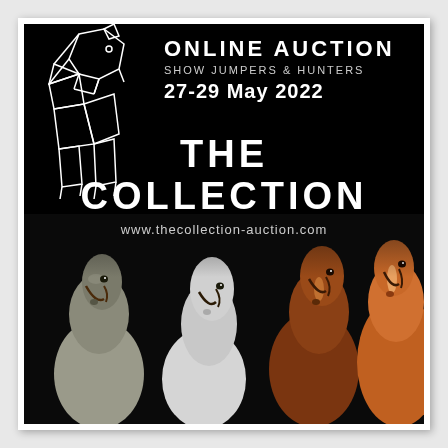[Figure (illustration): Black background promotional poster for The Collection online horse auction. Features a geometric line-art horse head in white on the left, text overlay on the right top area, and four real horse portraits (grey, white, two chestnuts) across the bottom half.]
ONLINE AUCTION
SHOW JUMPERS & HUNTERS
27-29 May 2022
THE COLLECTION
www.thecollection-auction.com